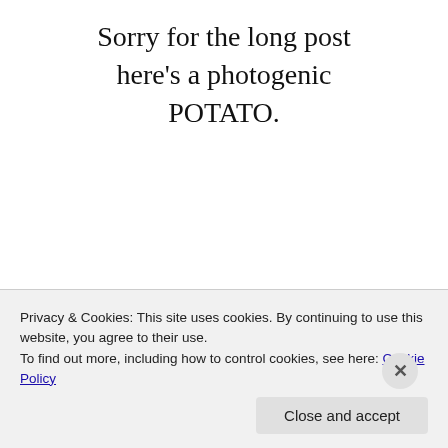Sorry for the long post here's a photogenic POTATO.
[Figure (illustration): A cartoon illustration of a smug-faced photogenic potato character with dark brown coloring, droopy eyes, and a sly smile.]
Privacy & Cookies: This site uses cookies. By continuing to use this website, you agree to their use.
To find out more, including how to control cookies, see here: Cookie Policy
Close and accept